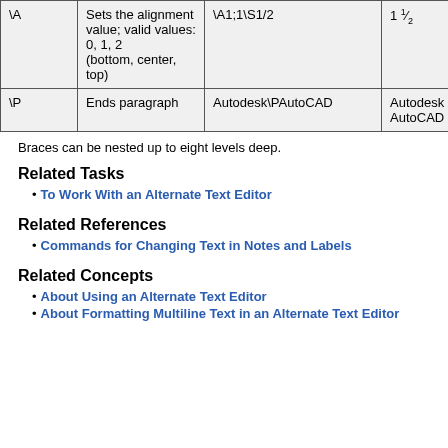|  |  |  |  |
| --- | --- | --- | --- |
| \A | Sets the alignment value; valid values: 0, 1, 2
(bottom, center, top) | \A1;1\S1/2 | 1½ |
| \P | Ends paragraph | Autodesk\PAutoCAD | Autodesk
AutoCAD |
Braces can be nested up to eight levels deep.
Related Tasks
To Work With an Alternate Text Editor
Related References
Commands for Changing Text in Notes and Labels
Related Concepts
About Using an Alternate Text Editor
About Formatting Multiline Text in an Alternate Text Editor